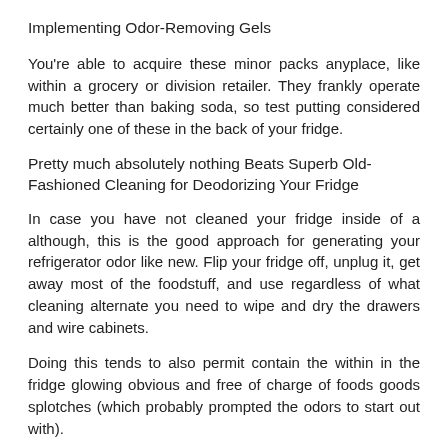Implementing Odor-Removing Gels
You're able to acquire these minor packs anyplace, like within a grocery or division retailer. They frankly operate much better than baking soda, so test putting considered certainly one of these in the back of your fridge.
Pretty much absolutely nothing Beats Superb Old-Fashioned Cleaning for Deodorizing Your Fridge
In case you have not cleaned your fridge inside of a although, this is the good approach for generating your refrigerator odor like new. Flip your fridge off, unplug it, get away most of the foodstuff, and use regardless of what cleaning alternate you need to wipe and dry the drawers and wire cabinets.
Doing this tends to also permit contain the within in the fridge glowing obvious and free of charge of foods goods splotches (which probably prompted the odors to start out with).